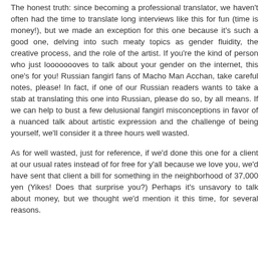The honest truth: since becoming a professional translator, we haven't often had the time to translate long interviews like this for fun (time is money!), but we made an exception for this one because it's such a good one, delving into such meaty topics as gender fluidity, the creative process, and the role of the artist. If you're the kind of person who just loooooooves to talk about your gender on the internet, this one's for you! Russian fangirl fans of Macho Man Acchan, take careful notes, please! In fact, if one of our Russian readers wants to take a stab at translating this one into Russian, please do so, by all means. If we can help to bust a few delusional fangirl misconceptions in favor of a nuanced talk about artistic expression and the challenge of being yourself, we'll consider it a three hours well wasted.
As for well wasted, just for reference, if we'd done this one for a client at our usual rates instead of for free for y'all because we love you, we'd have sent that client a bill for something in the neighborhood of 37,000 yen (Yikes! Does that surprise you?) Perhaps it's unsavory to talk about money, but we thought we'd mention it this time, for several reasons.